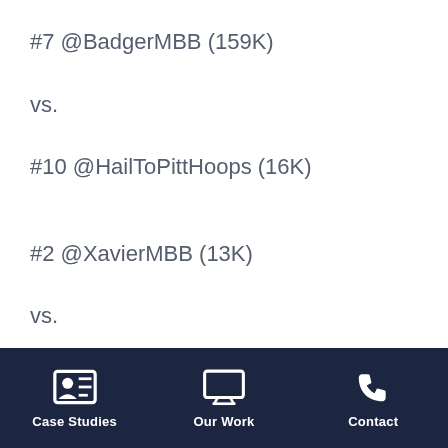#7 @BadgerMBB (159K)
vs.
#10 @HailToPittHoops (16K)
#2 @XavierMBB (13K)
vs.
#15 @WeberStateMBB (1,929)
In the first round of the East Bracket, I have #1 UNC taking out #16 #DunkCity (FGCU). UNC Kills them in following
Case Studies   Our Work   Contact